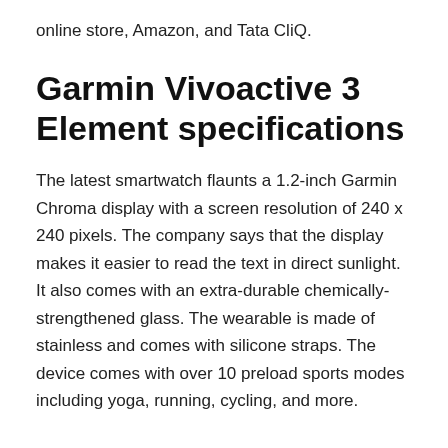online store, Amazon, and Tata CliQ.
Garmin Vivoactive 3 Element specifications
The latest smartwatch flaunts a 1.2-inch Garmin Chroma display with a screen resolution of 240 x 240 pixels. The company says that the display makes it easier to read the text in direct sunlight. It also comes with an extra-durable chemically-strengthened glass. The wearable is made of stainless and comes with silicone straps. The device comes with over 10 preload sports modes including yoga, running, cycling, and more.